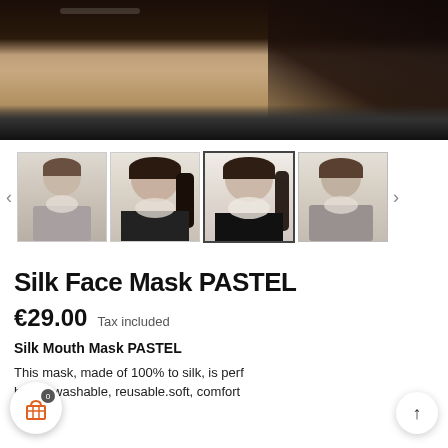[Figure (photo): Main product image showing a woman wearing a silk face mask, close-up view of lower face and neck with dark hair]
[Figure (photo): Thumbnail gallery showing 4 images of people (man and woman) wearing silk face masks in gray/white tones, third image selected with border]
Silk Face Mask PASTEL
€29.00  Tax included
Silk Mouth Mask PASTEL
This mask, made of 100% to silk, is perfect. breathable, washable, reusable.soft, comfortable to use, perfectly cleaned, reusable.